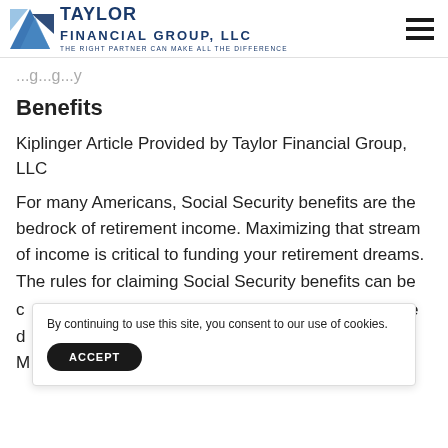Taylor Financial Group, LLC — THE RIGHT PARTNER CAN MAKE ALL THE DIFFERENCE
Benefits
Kiplinger Article Provided by Taylor Financial Group, LLC
For many Americans, Social Security benefits are the bedrock of retirement income. Maximizing that stream of income is critical to funding your retirement dreams. The rules for claiming Social Security benefits can be
By continuing to use this site, you consent to our use of cookies.
ACCEPT